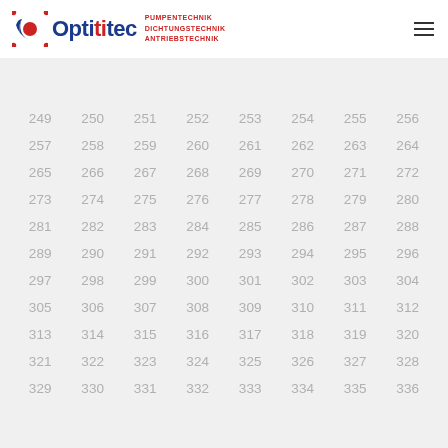[Figure (logo): Optitec company logo with stylized gear/fan icon, blue and red text reading 'Optitec', with tagline 'PUMPENTECHNIK DICHTUNGSTECHNIK ANTRIEBSTECHNIK' in red]
| 249 | 250 | 251 | 252 | 253 | 254 | 255 | 256 |
| 257 | 258 | 259 | 260 | 261 | 262 | 263 | 264 |
| 265 | 266 | 267 | 268 | 269 | 270 | 271 | 272 |
| 273 | 274 | 275 | 276 | 277 | 278 | 279 | 280 |
| 281 | 282 | 283 | 284 | 285 | 286 | 287 | 288 |
| 289 | 290 | 291 | 292 | 293 | 294 | 295 | 296 |
| 297 | 298 | 299 | 300 | 301 | 302 | 303 | 304 |
| 305 | 306 | 307 | 308 | 309 | 310 | 311 | 312 |
| 313 | 314 | 315 | 316 | 317 | 318 | 319 | 320 |
| 321 | 322 | 323 | 324 | 325 | 326 | 327 | 328 |
| 329 | 330 | 331 | 332 | 333 | 334 | 335 | 336 |